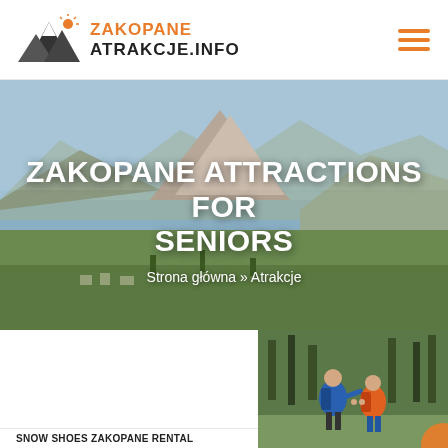[Figure (logo): Zakopane Atrakcje.info logo with mountain icon and orange/black text]
[Figure (photo): Aerial panoramic photo of Zakopane town with Tatra mountains in background, green valleys and forests]
ZAKOPANE ATTRACTIONS FOR SENIORS
Strona główna » Atrakcje
[Figure (photo): Two hikers with backpacks in a forest, one helping the other, orange and blue jackets]
SNOW SHOES ZAKOPANE RENTAL